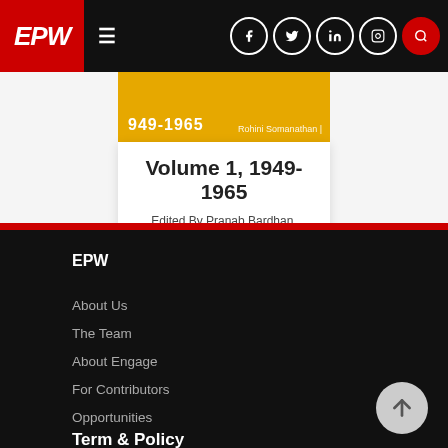EPW
Volume 1, 1949-1965
Edited By Pranab Bardhan, Sudipto Mundle, Rohini Somanathan
EPW
About Us
The Team
About Engage
For Contributors
Opportunities
Term & Policy